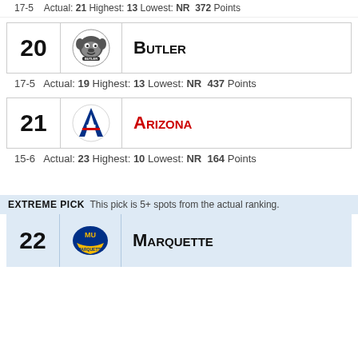17-5   Actual: 21 Highest: 13 Lowest: NR  372 Points
[Figure (logo): Butler Bulldogs mascot logo]
20  Butler
17-5   Actual: 19 Highest: 13 Lowest: NR  437 Points
[Figure (logo): Arizona Wildcats A logo]
21  Arizona
15-6   Actual: 23 Highest: 10 Lowest: NR  164 Points
EXTREME PICK  This pick is 5+ spots from the actual ranking.
[Figure (logo): Marquette Golden Eagles MU logo]
22  Marquette